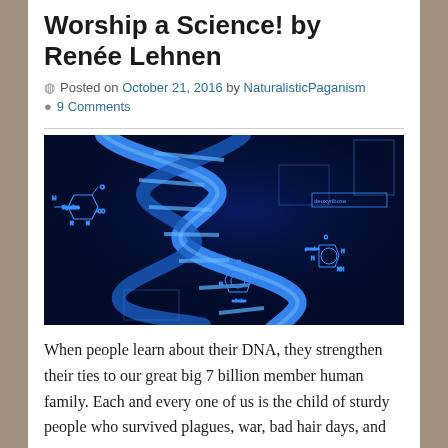Worship a Science! by Renée Lehnen
Posted on October 21, 2016 by NaturalisticPaganism
9 Comments
[Figure (photo): Glowing blue DNA double helix strand with chemical structure diagrams on dark blue background]
When people learn about their DNA, they strengthen their ties to our great big 7 billion member human family. Each and every one of us is the child of sturdy people who survived plagues, war, bad hair days, and